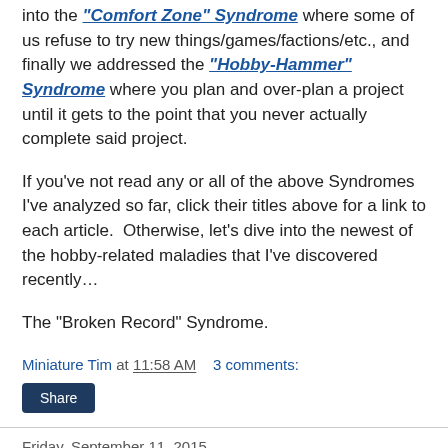into the "Comfort Zone" Syndrome where some of us refuse to try new things/games/factions/etc., and finally we addressed the "Hobby-Hammer" Syndrome where you plan and over-plan a project until it gets to the point that you never actually complete said project.
If you've not read any or all of the above Syndromes I've analyzed so far, click their titles above for a link to each article.  Otherwise, let's dive into the newest of the hobby-related maladies that I've discovered recently…
The "Broken Record" Syndrome.
Miniature Tim at 11:58 AM   3 comments:
Friday, September 11, 2015
Remembering 9/11, Those Lost and Those Who've Lost